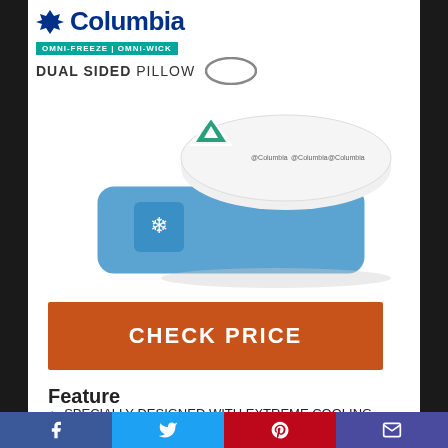[Figure (logo): Columbia Sportswear logo with snowflake gem icon, OMNI-FREEZE | OMNI-WICK teal bar, and DUAL SIDED PILLOW text with pillow oval icon]
[Figure (photo): Columbia Dual Sided Pillow product photo showing white top pillow with green triangle Omni-Wick badge and blue bottom pillow with blue snowflake Omni-Freeze badge]
CHECK PRICE
Feature
SPECIALLY DESIGNED WITH EXTREME COOLING TECHNOLOGY – Our advanced dual side memory
[Figure (other): Social sharing bar with Facebook, Twitter, Pinterest, and email icons]